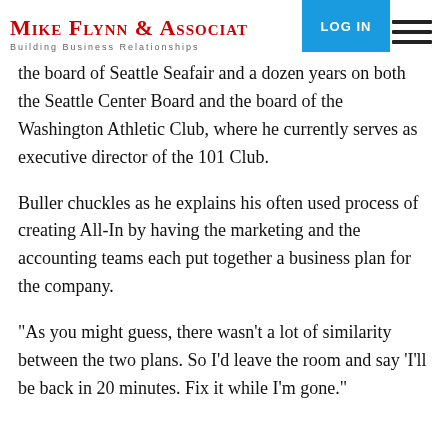MIKE FLYNN & ASSOCIATES — Building Business Relationships | LOG IN
the board of Seattle Seafair and a dozen years on both the Seattle Center Board and the board of the Washington Athletic Club, where he currently serves as executive director of the 101 Club.
Buller chuckles as he explains his often used process of creating All-In by having the marketing and the accounting teams each put together a business plan for the company.
"As you might guess, there wasn't a lot of similarity between the two plans. So I'd leave the room and say 'I'll be back in 20 minutes. Fix it while I'm gone."